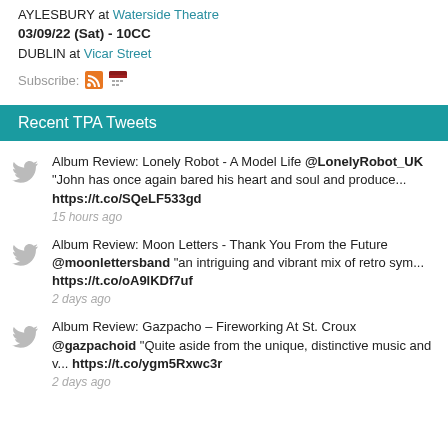AYLESBURY at Waterside Theatre
03/09/22 (Sat) - 10CC
DUBLIN at Vicar Street
Subscribe:
Recent TPA Tweets
Album Review: Lonely Robot - A Model Life @LonelyRobot_UK "John has once again bared his heart and soul and produce... https://t.co/SQeLF533gd 15 hours ago
Album Review: Moon Letters - Thank You From the Future @moonlettersband "an intriguing and vibrant mix of retro sym... https://t.co/oA9lKDf7uf 2 days ago
Album Review: Gazpacho – Fireworking At St. Croux @gazpachoid "Quite aside from the unique, distinctive music and v... https://t.co/ygm5Rxwc3r 2 days ago